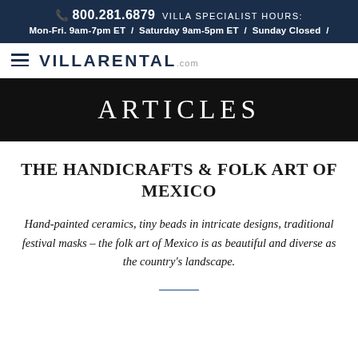📞 800.281.6879  VILLA SPECIALIST HOURS: Mon-Fri. 9am-7pm ET / Saturday 9am-5pm ET / Sunday Closed /
[Figure (logo): VillaRental.com logo with hamburger menu icon]
ARTICLES
THE HANDICRAFTS & FOLK ART OF MEXICO
Hand-painted ceramics, tiny beads in intricate designs, traditional festival masks – the folk art of Mexico is as beautiful and diverse as the country's landscape.